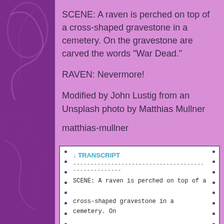SCENE: A raven is perched on top of a cross-shaped gravestone in a cemetery. On the gravestone are carved the words “War Dead.”
RAVEN: Nevermore!
Modified by John Lustig from an Unsplash photo by Matthias Mullner
matthias-mullner
↓ TRANSCRIPT
------------------------------------------------------------
SCENE: A raven is perched on top of a
cross-shaped gravestone in a cemetery. On
the gravestone are carved the words "War
Dead."

RAVEN: Nevermore!

Modified by John Lustig from an Unsplash
photo by Matthias Mullner